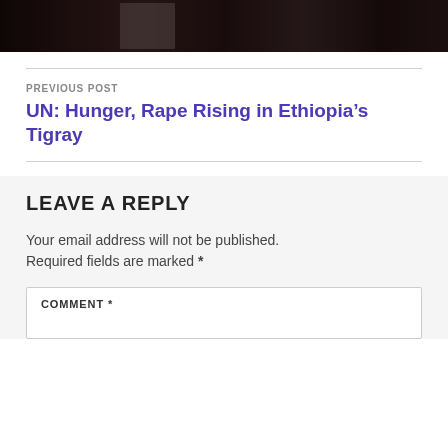[Figure (photo): Dark photograph showing figures/people, mostly in shadow with a person in a white garment visible in the center.]
PREVIOUS POST
UN: Hunger, Rape Rising in Ethiopia’s Tigray
LEAVE A REPLY
Your email address will not be published.
Required fields are marked *
COMMENT *